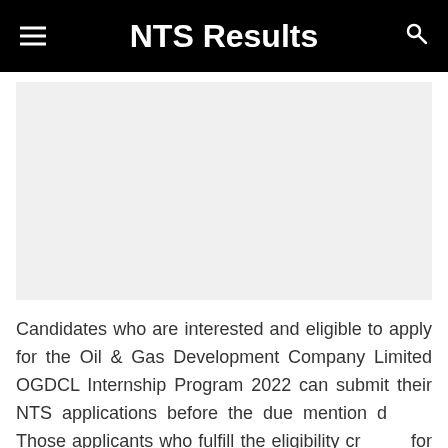NTS Results
[Figure (other): Advertisement/banner area placeholder]
Candidates who are interested and eligible to apply for the Oil & Gas Development Company Limited OGDCL Internship Program 2022 can submit their NTS applications before the due mention date. Those applicants who fulfill the eligibility criteria for mention announcements can get their Oil & Gas